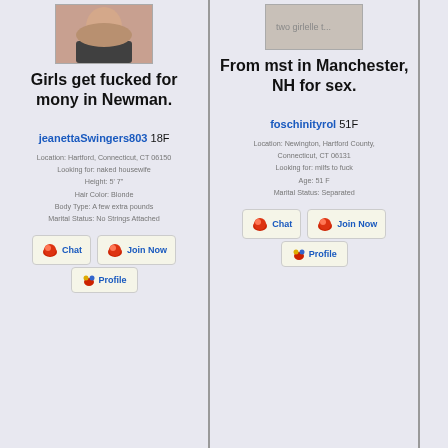[Figure (photo): Profile photo of jeanettaSwingers803]
Girls get fucked for mony in Newman.
jeanettaSwingers803 18F
Location: Hartford, Connecticut, CT 06150
Looking for: naked housewife
Height: 5' 7"
Hair Color: Blonde
Body Type: A few extra pounds
Marital Status: No Strings Attached
[Figure (photo): Profile photo of foschinityrol]
From mst in Manchester, NH for sex.
foschinityrol 51F
Location: Newington, Hartford County, Connecticut, CT 06131
Looking for: milfs to fuck
Age: 51 F
Marital Status: Separated